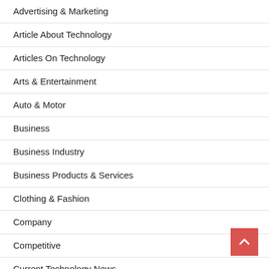Advertising & Marketing
Article About Technology
Articles On Technology
Arts & Entertainment
Auto & Motor
Business
Business Industry
Business Products & Services
Clothing & Fashion
Company
Competitive
Current Technology News
Define Industrial
Employment